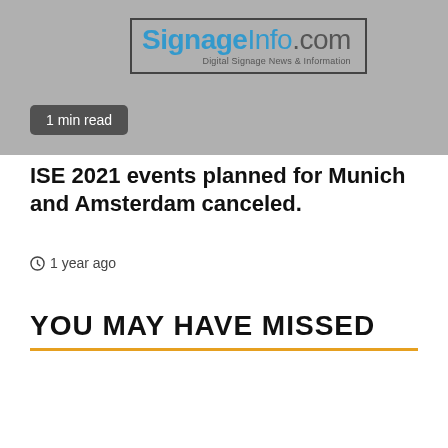[Figure (screenshot): Top portion of a SignageInfo.com website screenshot showing the site logo on a grey background with a '1 min read' badge overlay]
ISE 2021 events planned for Munich and Amsterdam canceled.
1 year ago
YOU MAY HAVE MISSED
[Figure (screenshot): Bottom portion of a website page showing a dark grey image area with a scroll-to-top button (orange with caret) and a chat button (blue circle), and partial 'Privacy' text]